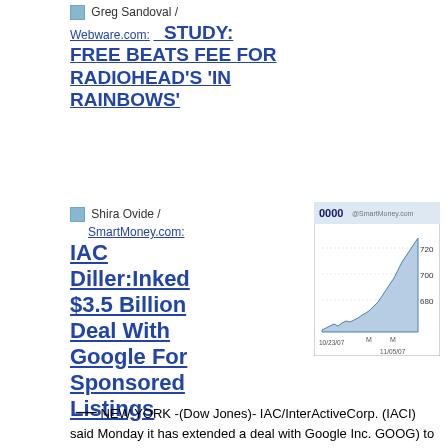Greg Sandoval /
Webware.com:  STUDY: FREE BEATS FEE FOR RADIOHEAD'S 'IN RAINBOWS'
Shira Ovide / SmartMoney.com:
[Figure (continuous-plot): Stock chart from SmartMoney.com showing ticker 0000 from 10/23/07 to 11/05/07, with y-axis values 660, 700, 720. Chart shows an upward trending area chart.]
IAC Diller:Inked $3.5 Billion Deal With Google For Sponsored Listings
— NEW YORK -(Dow Jones)- IAC/InterActiveCorp. (IACI) said Monday it has extended a deal with Google Inc. GOOG) to provide search advertising on its Internet properties, primarily the Ask.com search engine.
Discussion: Insider Chatter and Search Engine Land
RELATED:
PR Newswire: IAC Announces Plan to